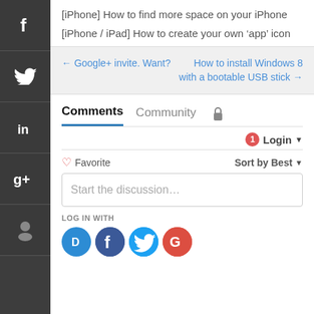[iPhone] How to find more space on your iPhone
[iPhone / iPad] How to create your own 'app' icon
← Google+ invite. Want?
How to install Windows 8 with a bootable USB stick →
Comments  Community  🔒
1  Login ▾
♡ Favorite    Sort by Best ▾
Start the discussion...
LOG IN WITH
[Figure (other): Social login icons: Disqus (D), Facebook (F), Twitter (bird), Google (G)]